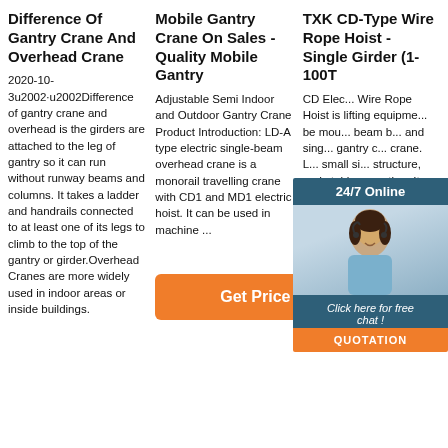Difference Of Gantry Crane And Overhead Crane
2020-10-3u2002·u2002Difference of gantry crane and overhead is the girders are attached to the leg of gantry so it can run without runway beams and columns. It takes a ladder and handrails connected to at least one of its legs to climb to the top of the gantry or girder.Overhead Cranes are more widely used in indoor areas or inside buildings.
Mobile Gantry Crane On Sales - Quality Mobile Gantry
Adjustable Semi Indoor and Outdoor Gantry Crane Product Introduction: LD-A type electric single-beam overhead crane is a monorail travelling crane with CD1 and MD1 electric hoist. It can be used in machine ...
[Figure (other): Orange 'Get Price' button]
TXK CD-Type Wire Rope Hoist - Single Girder (1-100T
CD Electric Wire Rope Hoist is a kind of lifting equipment that can be mounted on beam bridge crane and single-beam gantry crane. LD type small size, compact structure, and stable operation. It can also be used as a winch. It is widely used in factories, mines, harbors, warehouses, cargo storage areas and shops, essential in raising working ...
[Figure (photo): Customer service representative photo with 24/7 Online overlay header, Click here for free chat caption, and QUOTATION button]